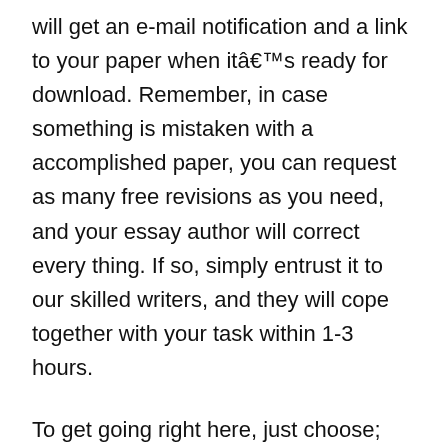will get an e-mail notification and a link to your paper when itâs ready for download. Remember, in case something is mistaken with a accomplished paper, you can request as many free revisions as you need, and your essay author will correct every thing. If so, simply entrust it to our skilled writers, and they will cope together with your task within 1-3 hours.
To get going right here, just choose; the sort of service you want, type of paper, academic degree, deadline, variety of phrases, and most popular spacing. Expert Writing then evaluates your order and assigns the best-placed author in your paper. And you presumably can let them work their magic with some confidence since you might be